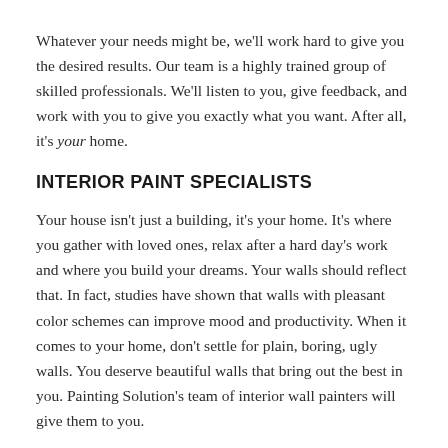Whatever your needs might be, we'll work hard to give you the desired results. Our team is a highly trained group of skilled professionals. We'll listen to you, give feedback, and work with you to give you exactly what you want. After all, it's your home.
INTERIOR PAINT SPECIALISTS
Your house isn't just a building, it's your home. It's where you gather with loved ones, relax after a hard day's work and where you build your dreams. Your walls should reflect that. In fact, studies have shown that walls with pleasant color schemes can improve mood and productivity. When it comes to your home, don't settle for plain, boring, ugly walls. You deserve beautiful walls that bring out the best in you. Painting Solution's team of interior wall painters will give them to you.
EXTERIOR PAINT EXPERTS